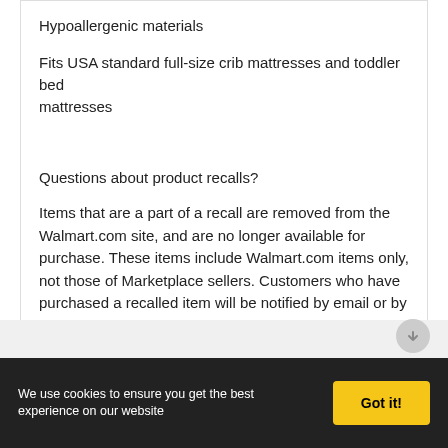Hypoallergenic materials
Fits USA standard full-size crib mattresses and toddler bed mattresses
Questions about product recalls?
Items that are a part of a recall are removed from the Walmart.com site, and are no longer available for purchase. These items include Walmart.com items only, not those of Marketplace sellers. Customers who have purchased a recalled item will be notified by email or by letter sent to the address given at the time of purchase. For complete recall information, go to Walmart Recalls.
We use cookies to ensure you get the best experience on our website